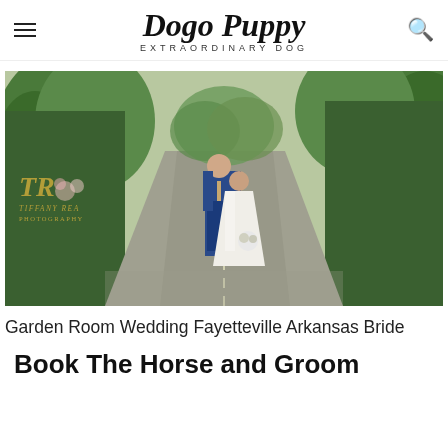Dogo Puppy EXTRAORDINARY DOG
[Figure (photo): Wedding photo of a bride and groom standing on a tree-lined road in Fayetteville, Arkansas. The groom is in a navy blue suit leaning toward the bride who wears a white wedding dress and holds a bouquet. Watermark reads: TR Tiffany Rea Photography.]
Garden Room Wedding Fayetteville Arkansas Bride
Book The Horse and Groom